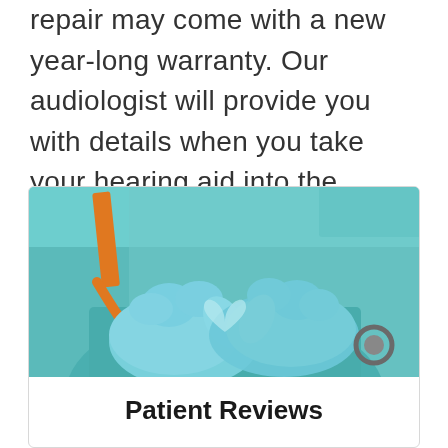repair may come with a new year-long warranty. Our audiologist will provide you with details when you take your hearing aid into the office.
[Figure (photo): Medical professional wearing blue latex gloves forming a heart shape with their hands, wearing teal scrubs with an orange stethoscope]
Patient Reviews
100% of patients surveyed would recommend us to friends and family.